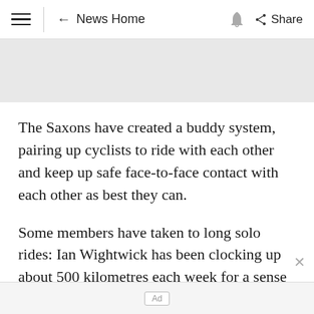≡ | ← News Home 🔔 Share
[Figure (photo): Gray placeholder image area]
The Saxons have created a buddy system, pairing up cyclists to ride with each other and keep up safe face-to-face contact with each other as best they can.
Some members have taken to long solo rides: Ian Wightwick has been clocking up about 500 kilometres each week for a sense of freedom
Ad